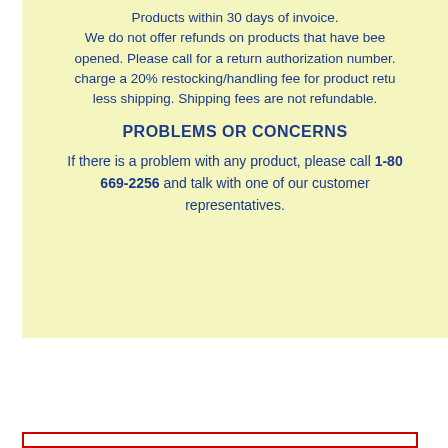Products within 30 days of invoice. We do not offer refunds on products that have been opened. Please call for a return authorization number. charge a 20% restocking/handling fee for product retu less shipping. Shipping fees are not refundable.
PROBLEMS OR CONCERNS
If there is a problem with any product, please call 1-800-669-2256 and talk with one of our customer representatives.